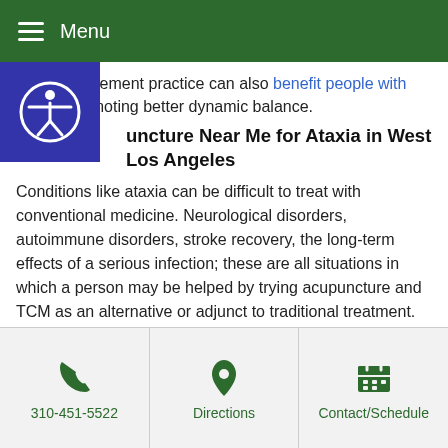Menu
Tai Chi movement practice can also benefit people with ataxia, promoting better dynamic balance.
uncture Near Me for Ataxia in West Los Angeles
Conditions like ataxia can be difficult to treat with conventional medicine. Neurological disorders, autoimmune disorders, stroke recovery, the long-term effects of a serious infection; these are all situations in which a person may be helped by trying acupuncture and TCM as an alternative or adjunct to traditional treatment. Drs. Tan and Cai at Art of Wellness in Los Angeles, CA have over 30 years of experience helping people regain muscular strength and motor function.
310-451-5522 | Directions | Contact/Schedule